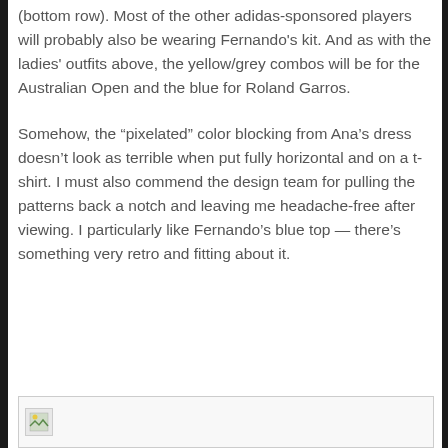(bottom row). Most of the other adidas-sponsored players will probably also be wearing Fernando's kit. And as with the ladies' outfits above, the yellow/grey combos will be for the Australian Open and the blue for Roland Garros.
Somehow, the “pixelated” color blocking from Ana’s dress doesn’t look as terrible when put fully horizontal and on a t-shirt. I must also commend the design team for pulling the patterns back a notch and leaving me headache-free after viewing. I particularly like Fernando’s blue top — there’s something very retro and fitting about it.
[Figure (photo): Partially visible image strip at the bottom of the page with a small image thumbnail icon on the left]